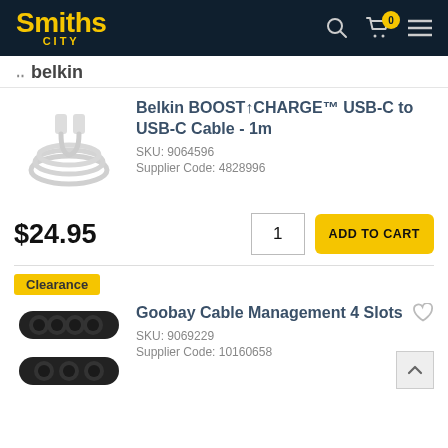[Figure (screenshot): Smiths City e-commerce product listing page showing navigation header, Belkin USB-C cable product, and Goobay Cable Management product with clearance badge]
Smiths City header with logo, search, cart (0 items), and menu icons
.. Belkin
[Figure (photo): White USB-C to USB-C cable coiled]
Belkin BOOST↑CHARGE™ USB-C to USB-C Cable - 1m
SKU: 9064596
Supplier Code: 4828996
$24.95
1
ADD TO CART
Clearance
[Figure (photo): Black cable management organiser with 4 slots shown twice]
Goobay Cable Management 4 Slots
SKU: 9069229
Supplier Code: 10160658